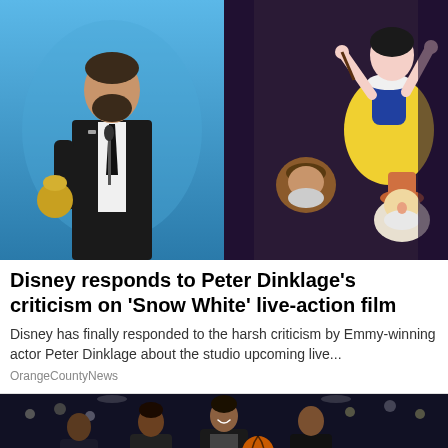[Figure (photo): Left: Man in black suit holding an Emmy award at a podium on a blue-lit stage. Right: Animated scene from Snow White classic Disney film showing Snow White and the Seven Dwarfs.]
Disney responds to Peter Dinklage's criticism on 'Snow White' live-action film
Disney has finally responded to the harsh criticism by Emmy-winning actor Peter Dinklage about the studio upcoming live...
OrangeCountyNews
[Figure (photo): Basketball players on a dark arena court, one player smiling holding a basketball, crowd in the background.]